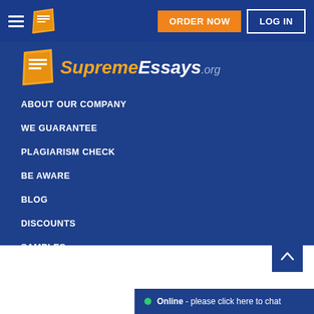[Figure (screenshot): SupremeEssays.org website navigation header with hamburger menu, logo icon, ORDER NOW orange button, and LOG IN bordered button on dark blue background]
[Figure (logo): SupremeEssays.org logo with orange notebook icon and stylized text in gold and white italic fonts]
ABOUT OUR COMPANY
DISCOUNTS
WE GUARANTEE
SAMPLES
PLAGIARISM CHECK
OUR WRITERS
BE AWARE
FREE ESSAYS
BLOG
FAQ
Online - please click here to chat